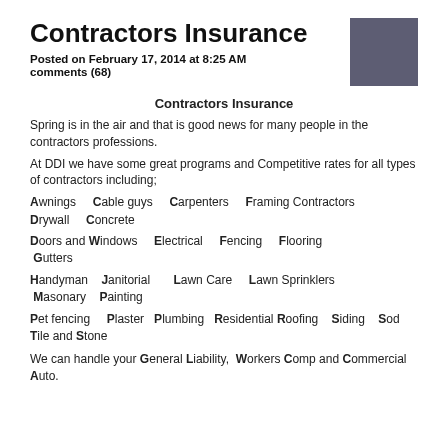Contractors Insurance
Posted on February 17, 2014 at 8:25 AM
comments (68)
Contractors Insurance
Spring is in the air and that is good news for many people in the contractors professions.
At DDI we have some great programs and Competitive rates for all types of contractors including;
Awnings   Cable guys   Carpenters   Framing Contractors   Drywall   Concrete
Doors and Windows   Electrical   Fencing   Flooring   Gutters
Handyman   Janitorial   Lawn Care   Lawn Sprinklers   Masonary   Painting
Pet fencing   Plaster   Plumbing   Residential Roofing   Siding   Sod   Tile and Stone
We can handle your General Liability, Workers Comp and Commercial Auto.